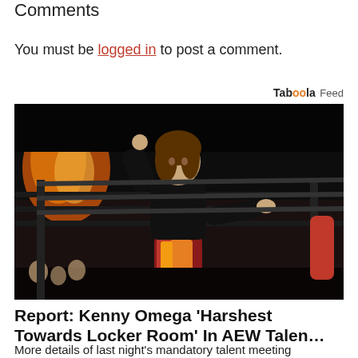Comments
You must be logged in to post a comment.
Taboola Feed
[Figure (photo): A wrestler (Kenny Omega) standing in a wrestling ring, wearing a black long-sleeve top and colorful trunks, pointing with both hands, with crowd and fire display visible in background.]
Report: Kenny Omega ‘Harshest Towards Locker Room’ In AEW Talen…
More details of last night's mandatory talent meeting